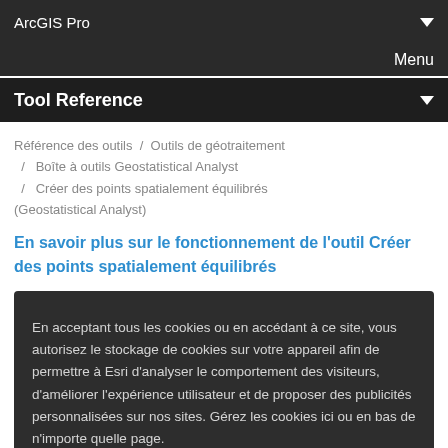ArcGIS Pro
Menu
Tool Reference
Référence des outils / Outils de géotraitement / Boîte à outils Geostatistical Analyst / Créer des points spatialement équilibrés (Geostatistical Analyst)
En savoir plus sur le fonctionnement de l'outil Créer des points spatialement équilibrés
En acceptant tous les cookies ou en accédant à ce site, vous autorisez le stockage de cookies sur votre appareil afin de permettre à Esri d'analyser le comportement des visiteurs, d'améliorer l'expérience utilisateur et de proposer des publicités personnalisées sur nos sites. Gérez les cookies ici ou en bas de n'importe quelle page.